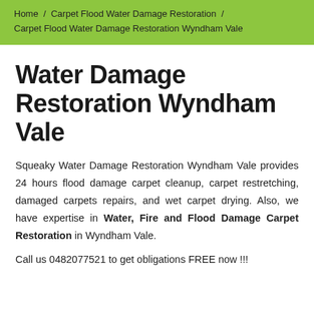Home / Carpet Flood Water Damage Restoration / Carpet Flood Water Damage Restoration Wyndham Vale
Water Damage Restoration Wyndham Vale
Squeaky Water Damage Restoration Wyndham Vale provides 24 hours flood damage carpet cleanup, carpet restretching, damaged carpets repairs, and wet carpet drying. Also, we have expertise in Water, Fire and Flood Damage Carpet Restoration in Wyndham Vale.
Call us 0482077521 to get obligations FREE now !!!